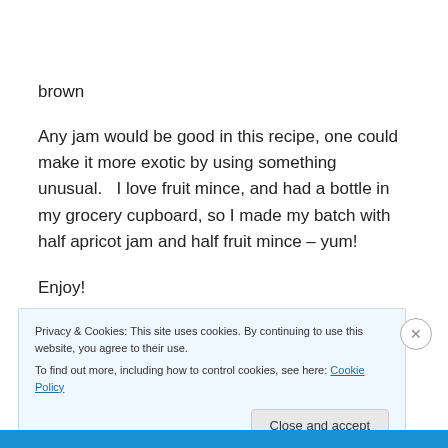brown
Any jam would be good in this recipe, one could make it more exotic by using something unusual.   I love fruit mince, and had a bottle in my grocery cupboard, so I made my batch with half apricot jam and half fruit mince – yum!
Enjoy!
Privacy & Cookies: This site uses cookies. By continuing to use this website, you agree to their use.
To find out more, including how to control cookies, see here: Cookie Policy
Close and accept